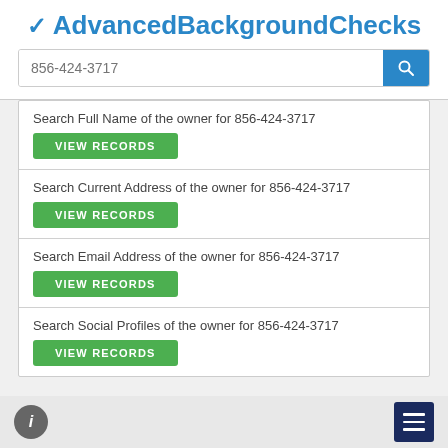✔ AdvancedBackgroundChecks
856-424-3717
Search Full Name of the owner for 856-424-3717
VIEW RECORDS
Search Current Address of the owner for 856-424-3717
VIEW RECORDS
Search Email Address of the owner for 856-424-3717
VIEW RECORDS
Search Social Profiles of the owner for 856-424-3717
VIEW RECORDS
ℹ ≡